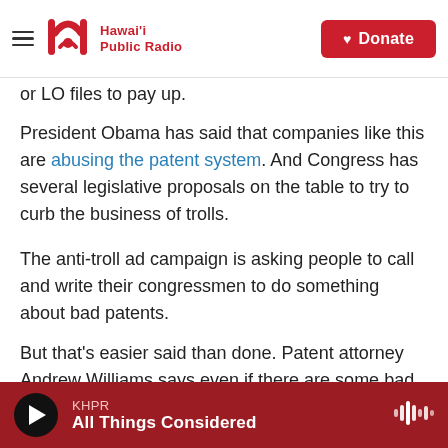Hawai'i Public Radio | Donate
or LO files to pay up.
President Obama has said that companies like this are abusing the patent system. And Congress has several legislative proposals on the table to try to curb the business of trolls.
The anti-troll ad campaign is asking people to call and write their congressmen to do something about bad patents.
But that's easier said than done. Patent attorney Andrew Williams says even if there are some bad actors out there, there are a lot of perfectly good
KHPR
All Things Considered